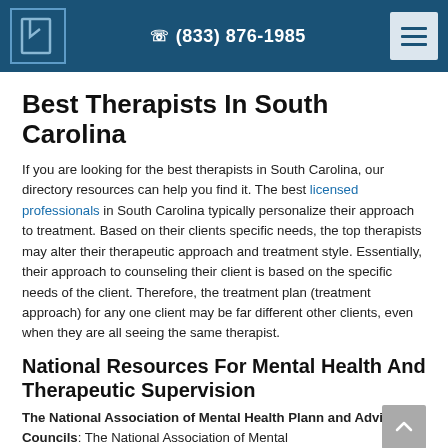☎ (833) 876-1985
Best Therapists In South Carolina
If you are looking for the best therapists in South Carolina, our directory resources can help you find it. The best licensed professionals in South Carolina typically personalize their approach to treatment. Based on their clients specific needs, the top therapists may alter their therapeutic approach and treatment style. Essentially, their approach to counseling their client is based on the specific needs of the client. Therefore, the treatment plan (treatment approach) for any one client may be far different other clients, even when they are all seeing the same therapist.
National Resources For Mental Health And Therapeutic Supervision
The National Association of Mental Health Plann and Advisory Councils: The National Association of Mental